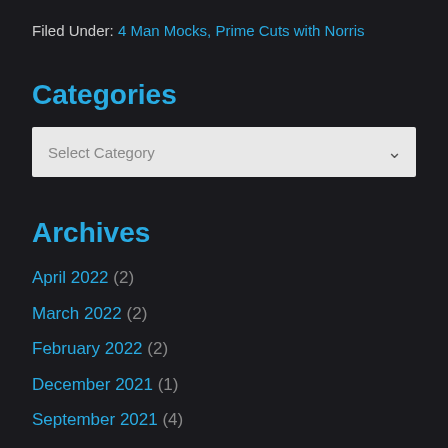Filed Under: 4 Man Mocks, Prime Cuts with Norris
Categories
Select Category
Archives
April 2022 (2)
March 2022 (2)
February 2022 (2)
December 2021 (1)
September 2021 (4)